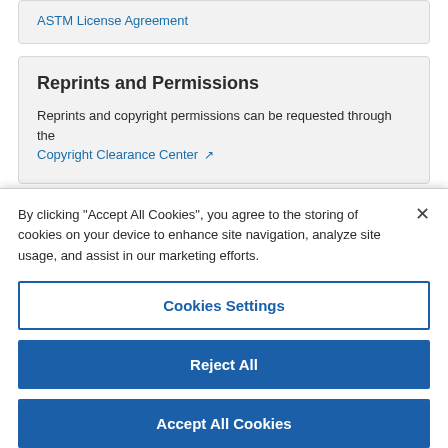ASTM License Agreement
Reprints and Permissions
Reprints and copyright permissions can be requested through the Copyright Clearance Center
By clicking “Accept All Cookies”, you agree to the storing of cookies on your device to enhance site navigation, analyze site usage, and assist in our marketing efforts.
Cookies Settings
Reject All
Accept All Cookies